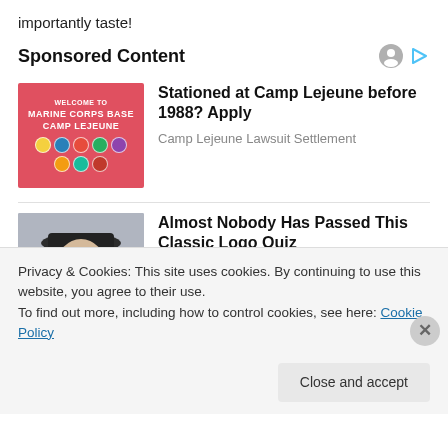importantly taste!
Sponsored Content
[Figure (photo): Marine Corps Base Camp Lejeune welcome sign on pink/red background with military emblems]
Stationed at Camp Lejeune before 1988? Apply
Camp Lejeune Lawsuit Settlement
[Figure (photo): Old man with white beard and dark cowboy hat]
Almost Nobody Has Passed This Classic Logo Quiz
WarpedSpeed
Privacy & Cookies: This site uses cookies. By continuing to use this website, you agree to their use.
To find out more, including how to control cookies, see here: Cookie Policy
Close and accept